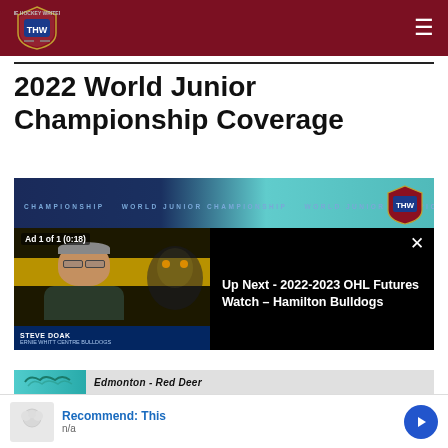THW - The Hockey Writers
2022 World Junior Championship Coverage
[Figure (screenshot): Video player showing World Junior Championship banner with THW logo; overlay ad showing anchor person on left, 'Up Next - 2022-2023 OHL Futures Watch – Hamilton Bulldogs' text on right, with close button. Bottom bar shows 'Edmonton - Red Deer' text. Ad label reads 'Ad 1 of 1 (0:18)'.]
Recommend: This
n/a